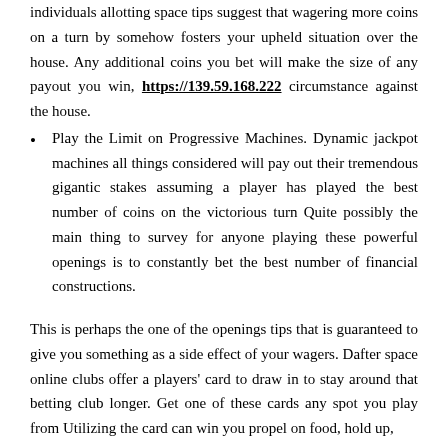individuals allotting space tips suggest that wagering more coins on a turn by somehow fosters your upheld situation over the house. Any additional coins you bet will make the size of any payout you win, https://139.59.168.222 circumstance against the house.
Play the Limit on Progressive Machines. Dynamic jackpot machines all things considered will pay out their tremendous gigantic stakes assuming a player has played the best number of coins on the victorious turn Quite possibly the main thing to survey for anyone playing these powerful openings is to constantly bet the best number of financial constructions.
This is perhaps the one of the openings tips that is guaranteed to give you something as a side effect of your wagers. Dafter space online clubs offer a players' card to draw in to stay around that betting club longer. Get one of these cards any spot you play from Utilizing the card can win you propel on food, hold up,